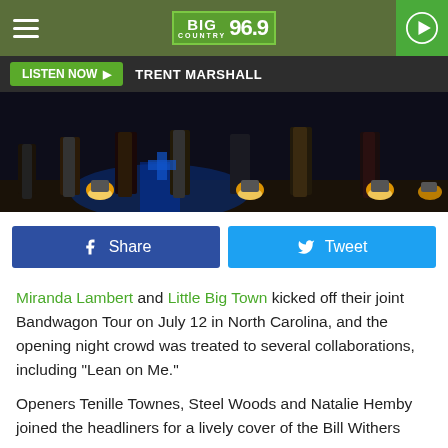Big Country 96.9
LISTEN NOW  TRENT MARSHALL
[Figure (photo): Concert stage photo showing performers' legs and feet on stage with dramatic blue and yellow stage lighting]
f  Share   Tweet
Miranda Lambert and Little Big Town kicked off their joint Bandwagon Tour on July 12 in North Carolina, and the opening night crowd was treated to several collaborations, including "Lean on Me."
Openers Tenille Townes, Steel Woods and Natalie Hemby joined the headliners for a lively cover of the Bill Withers